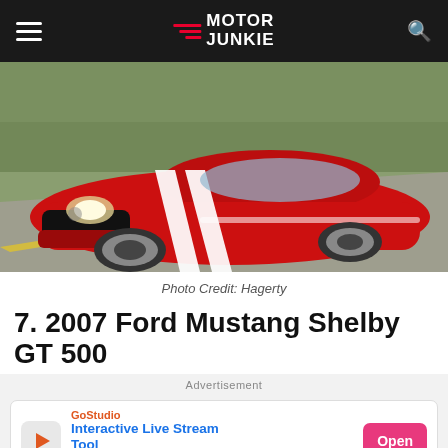Motor Junkie
[Figure (photo): Red 2007 Ford Mustang Shelby GT 500 with white racing stripes driving on a road, front three-quarter view.]
Photo Credit: Hagerty
7. 2007 Ford Mustang Shelby GT 500
Advertisement
[Figure (other): GoStudio advertisement banner: Interactive Live Stream Tool with Open button.]